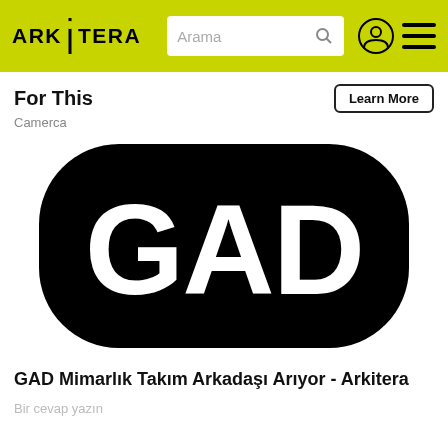ARK|TERA  Arama
For This
Camerca
[Figure (logo): GAD logo: large white letters 'GAD' on a black rounded/pillow-shaped background]
GAD Mimarlık Takım Arkadaşı Arıyor - Arkitera
Bir cevap yazın